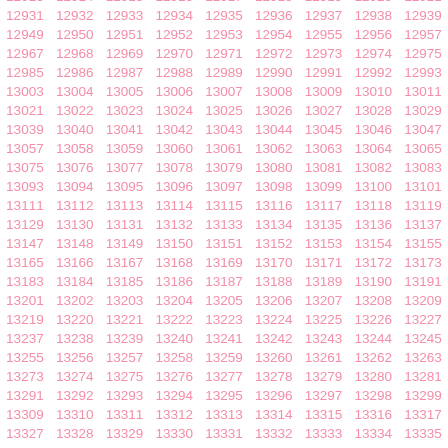| 12913 | 12914 | 12915 | 12916 | 12917 | 12918 | 12919 | 12920 | 12921 |
| 12931 | 12932 | 12933 | 12934 | 12935 | 12936 | 12937 | 12938 | 12939 |
| 12949 | 12950 | 12951 | 12952 | 12953 | 12954 | 12955 | 12956 | 12957 |
| 12967 | 12968 | 12969 | 12970 | 12971 | 12972 | 12973 | 12974 | 12975 |
| 12985 | 12986 | 12987 | 12988 | 12989 | 12990 | 12991 | 12992 | 12993 |
| 13003 | 13004 | 13005 | 13006 | 13007 | 13008 | 13009 | 13010 | 13011 |
| 13021 | 13022 | 13023 | 13024 | 13025 | 13026 | 13027 | 13028 | 13029 |
| 13039 | 13040 | 13041 | 13042 | 13043 | 13044 | 13045 | 13046 | 13047 |
| 13057 | 13058 | 13059 | 13060 | 13061 | 13062 | 13063 | 13064 | 13065 |
| 13075 | 13076 | 13077 | 13078 | 13079 | 13080 | 13081 | 13082 | 13083 |
| 13093 | 13094 | 13095 | 13096 | 13097 | 13098 | 13099 | 13100 | 13101 |
| 13111 | 13112 | 13113 | 13114 | 13115 | 13116 | 13117 | 13118 | 13119 |
| 13129 | 13130 | 13131 | 13132 | 13133 | 13134 | 13135 | 13136 | 13137 |
| 13147 | 13148 | 13149 | 13150 | 13151 | 13152 | 13153 | 13154 | 13155 |
| 13165 | 13166 | 13167 | 13168 | 13169 | 13170 | 13171 | 13172 | 13173 |
| 13183 | 13184 | 13185 | 13186 | 13187 | 13188 | 13189 | 13190 | 13191 |
| 13201 | 13202 | 13203 | 13204 | 13205 | 13206 | 13207 | 13208 | 13209 |
| 13219 | 13220 | 13221 | 13222 | 13223 | 13224 | 13225 | 13226 | 13227 |
| 13237 | 13238 | 13239 | 13240 | 13241 | 13242 | 13243 | 13244 | 13245 |
| 13255 | 13256 | 13257 | 13258 | 13259 | 13260 | 13261 | 13262 | 13263 |
| 13273 | 13274 | 13275 | 13276 | 13277 | 13278 | 13279 | 13280 | 13281 |
| 13291 | 13292 | 13293 | 13294 | 13295 | 13296 | 13297 | 13298 | 13299 |
| 13309 | 13310 | 13311 | 13312 | 13313 | 13314 | 13315 | 13316 | 13317 |
| 13327 | 13328 | 13329 | 13330 | 13331 | 13332 | 13333 | 13334 | 13335 |
| 13345 | 13346 | 13347 | 13348 | 13349 | 13350 | 13351 | 13352 | 13353 |